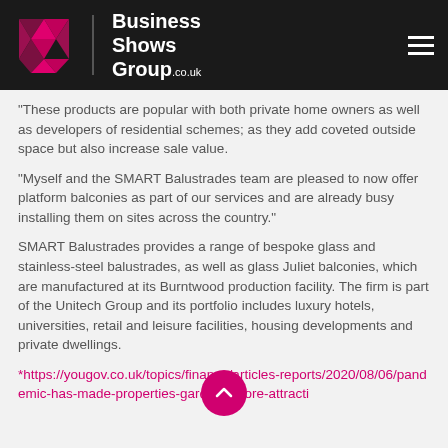Business Shows Group .co.uk
“These products are popular with both private home owners as well as developers of residential schemes; as they add coveted outside space but also increase sale value.
“Myself and the SMART Balustrades team are pleased to now offer platform balconies as part of our services and are already busy installing them on sites across the country.”
SMART Balustrades provides a range of bespoke glass and stainless-steel balustrades, as well as glass Juliet balconies, which are manufactured at its Burntwood production facility. The firm is part of the Unitech Group and its portfolio includes luxury hotels, universities, retail and leisure facilities, housing developments and private dwellings.
*https://yougov.co.uk/topics/finance/articles-reports/2020/08/06/pandemic-has-made-properties-gardens-more-attracti